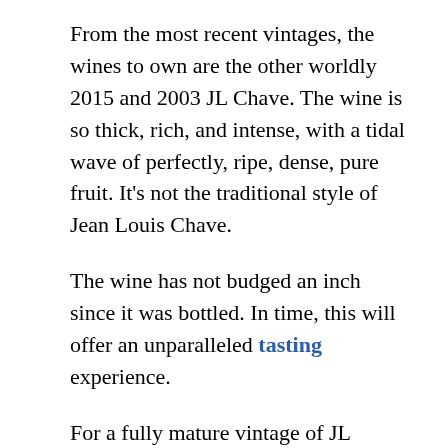From the most recent vintages, the wines to own are the other worldly 2015 and 2003 JL Chave. The wine is so thick, rich, and intense, with a tidal wave of perfectly, ripe, dense, pure fruit. It's not the traditional style of Jean Louis Chave.
The wine has not budged an inch since it was bottled. In time, this will offer an unparalleled tasting experience.
For a fully mature vintage of JL Chave, 1990 is sublime. It has everything a great wine needs. It comes with a scary high price. But if you want to experience the greatness of Chave and understand why wine lovers have coveted these wines for centuries, this is worth tasting a bottle.
Not quite at the same level, but for a lot less money